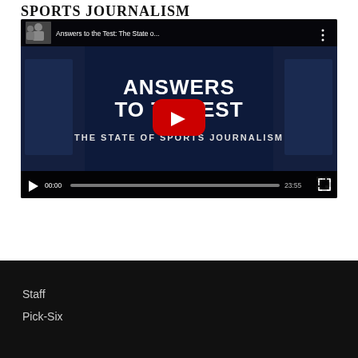SPORTS JOURNALISM
[Figure (screenshot): YouTube video player showing 'Answers to the Test: The State o...' video with title overlay 'ANSWERS TO THE TEST - THE STATE OF SPORTS JOURNALISM', playback controls showing 00:00 current time and 23:55 total duration]
Staff
Pick-Six